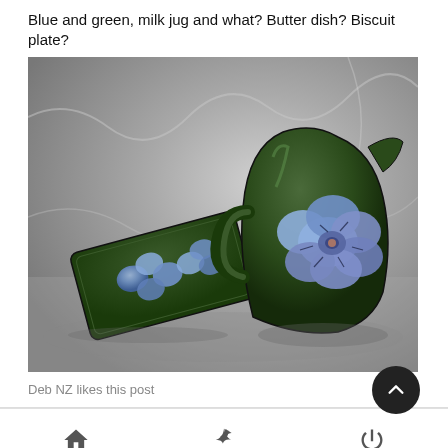Blue and green, milk jug and what? Butter dish? Biscuit plate?
[Figure (photo): A dark green ceramic milk jug decorated with a large blue flower pattern, and a matching rectangular dark green tray/plate with smaller blue flower motifs, photographed on a grey fabric background.]
Deb NZ likes this post
Home | Last | Log in